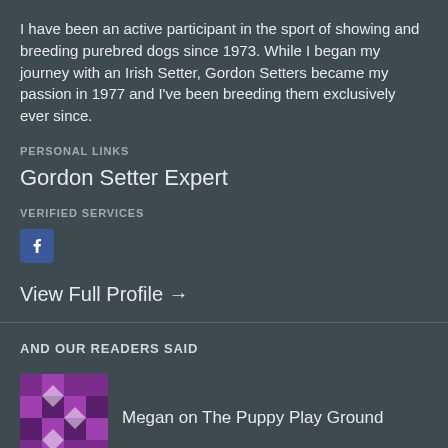I have been an active participant in the sport of showing and breeding purebred dogs since 1973. While I began my journey with an Irish Setter, Gordon Setters became my passion in 1977 and I've been breeding them exclusively ever since.
PERSONAL LINKS
Gordon Setter Expert
VERIFIED SERVICES
[Figure (logo): Facebook icon button]
View Full Profile →
AND OUR READERS SAID
[Figure (illustration): Purple avatar icon for Megan]
Megan on The Puppy Play Ground
[Figure (illustration): Yellow/green avatar icon for Leslie Boyce]
Leslie Boyce on Introduction to Setter Groomin...